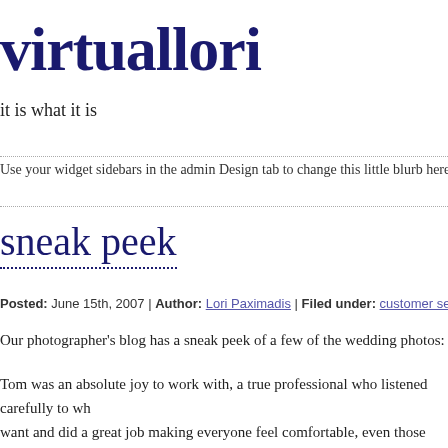virtuallori
it is what it is
Use your widget sidebars in the admin Design tab to change this little blurb here. Add the tex
sneak peek
Posted: June 15th, 2007 | Author: Lori Paximadis | Filed under: customer service, wedding | 4 Com
Our photographer's blog has a sneak peek of a few of the wedding photos: Tom Forres
Tom was an absolute joy to work with, a true professional who listened carefully to wh want and did a great job making everyone feel comfortable, even those who hate havin Besides that, he's an incredibly talented nice guy. I whole-heartedly recommend him to